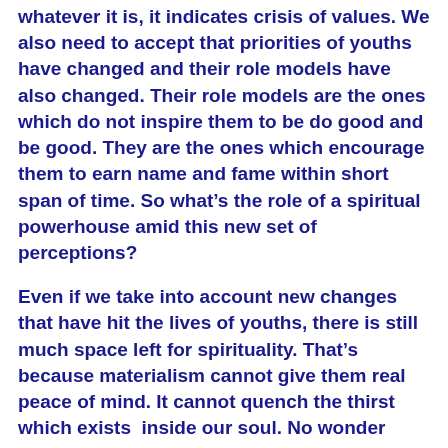whatever it is, it indicates crisis of values. We also need to accept that priorities of youths have changed and their role models have also changed. Their role models are the ones which do not inspire them to be do good and be good. They are the ones which encourage them to earn name and fame within short span of time. So what's the role of a spiritual powerhouse amid this new set of perceptions?
Even if we take into account new changes that have hit the lives of youths, there is still much space left for spirituality. That's because materialism cannot give them real peace of mind. It cannot quench the thirst which exists  inside our soul. No wonder youths have been hit hard by giant dragon called depression. Let's also not forget that India is land of discovering inner peace. It's not the land to multiply external source of